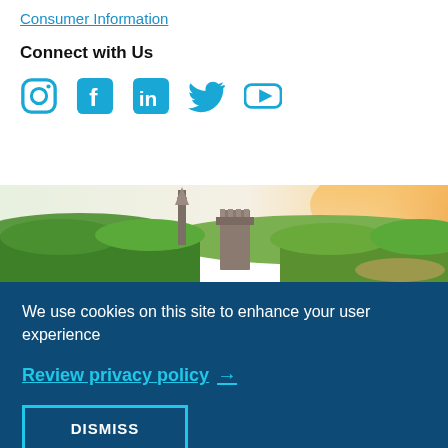Consumer Information
Connect with Us
[Figure (illustration): Five social media icons: Instagram, Facebook, LinkedIn, Twitter, YouTube in cyan/teal color]
[Figure (photo): Aerial photograph of a college campus with a church spire and gothic tower surrounded by green trees with hills in the background and warm sunset light]
We use cookies on this site to enhance your user experience
Review privacy policy →
DISMISS
NON-DISCRIMINATION POLICY
Mount Holyoke College, as a women's college, does not discriminate